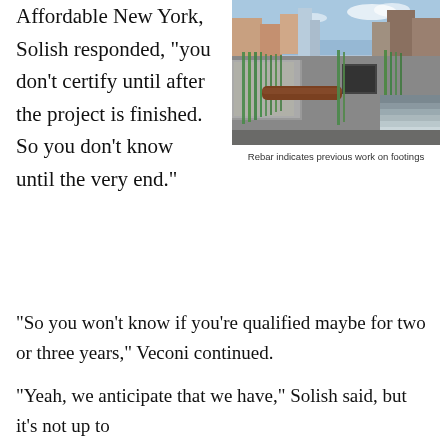Affordable New York, Solish responded, "you don't certify until after the project is finished. So you don't know until the very end."
[Figure (photo): Construction site photo showing rebar (green vertical steel reinforcing bars) indicating previous work on footings, with concrete structures and urban skyline in background]
Rebar indicates previous work on footings
"So you won't know if you're qualified maybe for two or three years," Veconi continued.
"Yeah, we anticipate that we have," Solish said, but it's not up to